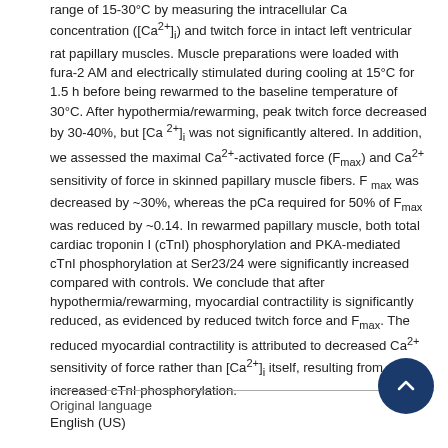range of 15-30°C by measuring the intracellular Ca concentration ([Ca2+]i) and twitch force in intact left ventricular rat papillary muscles. Muscle preparations were loaded with fura-2 AM and electrically stimulated during cooling at 15°C for 1.5 h before being rewarmed to the baseline temperature of 30°C. After hypothermia/rewarming, peak twitch force decreased by 30-40%, but [Ca 2+]i was not significantly altered. In addition, we assessed the maximal Ca2+-activated force (Fmax) and Ca2+ sensitivity of force in skinned papillary muscle fibers. F max was decreased by ~30%, whereas the pCa required for 50% of Fmax was reduced by ~0.14. In rewarmed papillary muscle, both total cardiac troponin I (cTnI) phosphorylation and PKA-mediated cTnI phosphorylation at Ser23/24 were significantly increased compared with controls. We conclude that after hypothermia/rewarming, myocardial contractility is significantly reduced, as evidenced by reduced twitch force and Fmax. The reduced myocardial contractility is attributed to decreased Ca2+ sensitivity of force rather than [Ca2+]i itself, resulting from increased cTnI phosphorylation.
Original language
English (US)